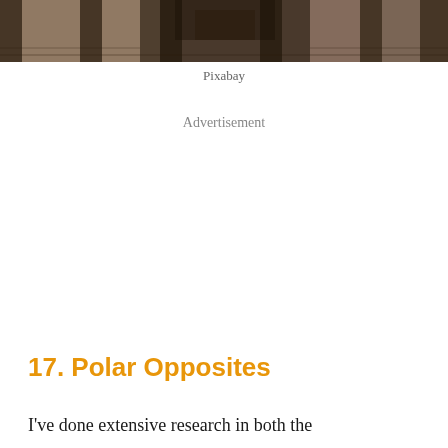[Figure (photo): Architectural photo showing stone columns and ornate ceiling structure, viewed from below, in dark browns and grays]
Pixabay
Advertisement
17. Polar Opposites
I've done extensive research in both the